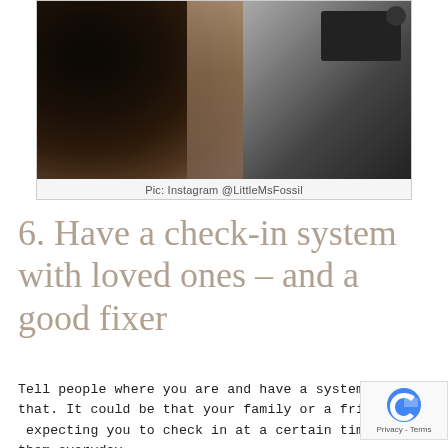[Figure (photo): Close-up photo of a woman with dark curly hair on the left side and camera crew/photographers on the right side]
Pic: Instagram @LittleMsFossil
6. Have a check-in system with loved ones – and a good fixer
Tell people where you are and have a system for that. It could be that your family or a friend knowing expecting you to check in at a certain time with them everyday.